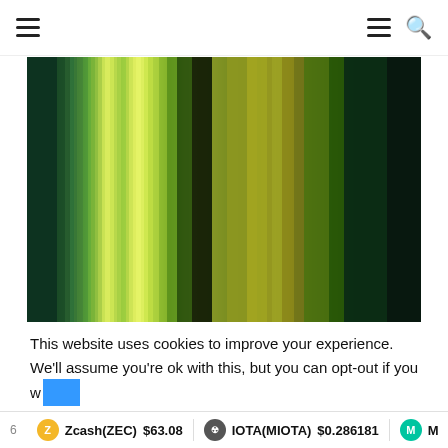Navigation header with hamburger menu icons and search icon
[Figure (photo): Abstract green vertical stripes pattern — various shades of green from dark forest green to light yellow-green and olive tones, blurred vertical bands]
This website uses cookies to improve your experience. We'll assume you're ok with this, but you can opt-out if you w
Zcash(ZEC) $63.08   IOTA(MIOTA) $0.286181   M